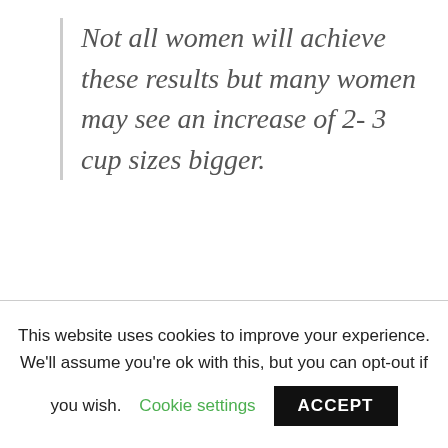Not all women will achieve these results but many women may see an increase of 2- 3 cup sizes bigger.
The recommended use of the Noogleberry breast pump is fifteen minutes a day five to six times per week.
This website uses cookies to improve your experience. We'll assume you're ok with this, but you can opt-out if you wish. Cookie settings ACCEPT